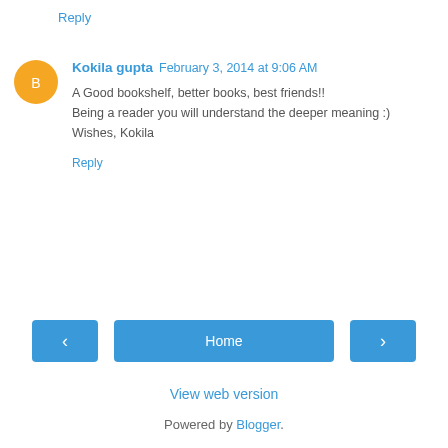Reply
Kokila gupta  February 3, 2014 at 9:06 AM
A Good bookshelf, better books, best friends!!
Being a reader you will understand the deeper meaning :)
Wishes, Kokila
Reply
Home
View web version
Powered by Blogger.